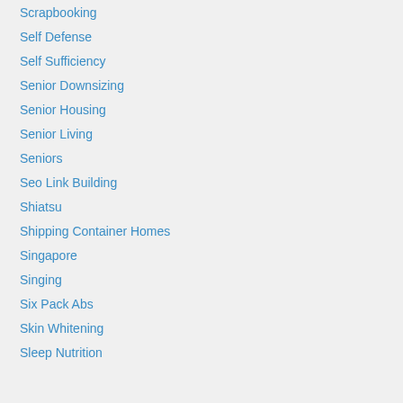Scrapbooking
Self Defense
Self Sufficiency
Senior Downsizing
Senior Housing
Senior Living
Seniors
Seo Link Building
Shiatsu
Shipping Container Homes
Singapore
Singing
Six Pack Abs
Skin Whitening
Sleep Nutrition